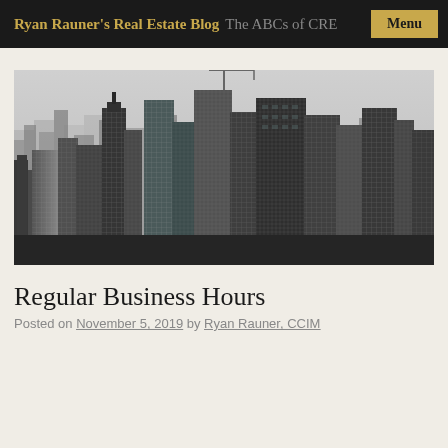Ryan Rauner's Real Estate Blog The ABCs of CRE | Menu
[Figure (photo): Black and white aerial photograph of a dense urban skyline, resembling New York City, with numerous skyscrapers of varying heights.]
Regular Business Hours
Posted on November 5, 2019 by Ryan Rauner, CCIM